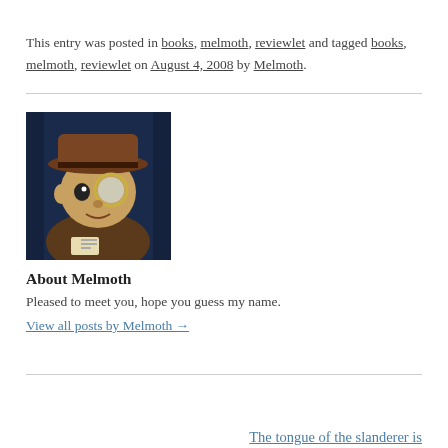This entry was posted in books, melmoth, reviewlet and tagged books, melmoth, reviewlet on August 4, 2008 by Melmoth.
[Figure (illustration): Avatar image of Melmoth — a cartoon-style character wearing a brown hat and monocle against a dark blue background]
About Melmoth
Pleased to meet you, hope you guess my name.
View all posts by Melmoth →
← Boldly gone.
The tongue of the slanderer is brother to the dagger of the